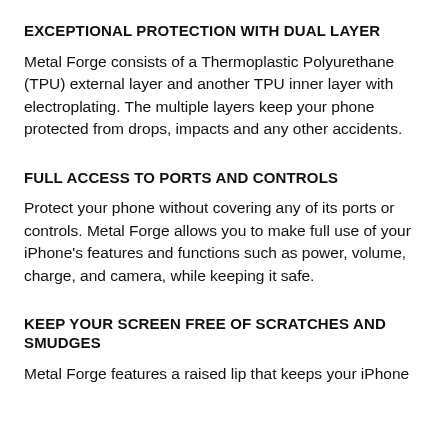EXCEPTIONAL PROTECTION WITH DUAL LAYER
Metal Forge consists of a Thermoplastic Polyurethane (TPU) external layer and another TPU inner layer with electroplating. The multiple layers keep your phone protected from drops, impacts and any other accidents.
FULL ACCESS TO PORTS AND CONTROLS
Protect your phone without covering any of its ports or controls. Metal Forge allows you to make full use of your iPhone's features and functions such as power, volume, charge, and camera, while keeping it safe.
KEEP YOUR SCREEN FREE OF SCRATCHES AND SMUDGES
Metal Forge features a raised lip that keeps your iPhone